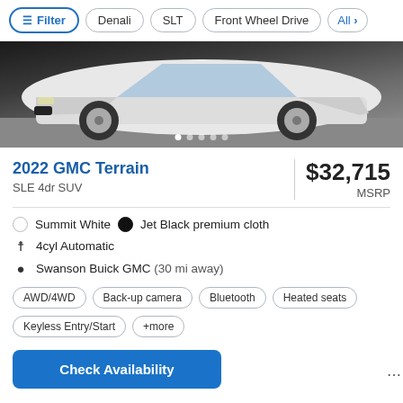Filter | Denali | SLT | Front Wheel Drive | All
[Figure (photo): Front view of a white GMC Terrain SUV on a grey background, with carousel dots below.]
2022 GMC Terrain
SLE 4dr SUV
$32,715 MSRP
Summit White / Jet Black premium cloth
4cyl Automatic
Swanson Buick GMC (30 mi away)
AWD/4WD
Back-up camera
Bluetooth
Heated seats
Keyless Entry/Start
+more
Check Availability